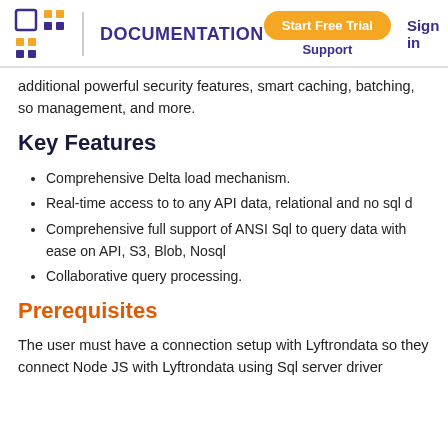DOCUMENTATION | Start Free Trial | Support | Sign in
additional powerful security features, smart caching, batching, so management, and more.
Key Features
Comprehensive Delta load mechanism.
Real-time access to to any API data, relational and no sql d
Comprehensive full support of ANSI Sql to query data with ease on API, S3, Blob, Nosql
Collaborative query processing.
Prerequisites
The user must have a connection setup with Lyftrondata so they connect Node JS with Lyftrondata using Sql server driver